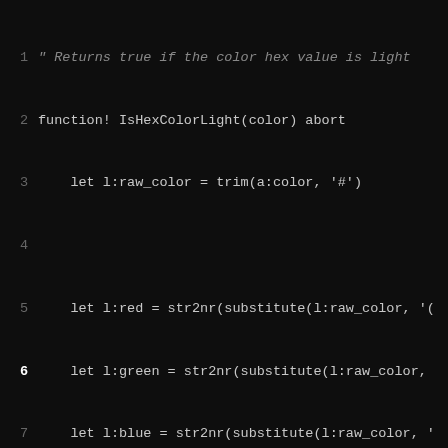[Figure (screenshot): Vim editor screenshot showing code in a dark terminal with line numbers. Code is a VimScript function IsHexColorLight. Status bar shows NORMAL mode, code.vim filename, 50%, 6:12.]
Jorengarenar
31
vim-darkness
Dark, monochromatic Vim colorscheme
Created 3 years ago
Last commit a month ago